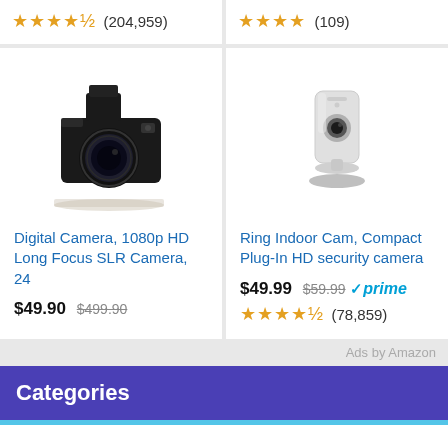★★★★½ (204,959)
★★★★ (109)
[Figure (photo): Black DSLR/SLR digital camera with lens extended, viewed from front-left angle]
[Figure (photo): White Ring Indoor Cam security camera on a stand, front view]
Digital Camera, 1080p HD Long Focus SLR Camera, 24
Ring Indoor Cam, Compact Plug-In HD security camera
$49.90 $499.90
$49.99 $59.99 ✓prime
★★★★½ (78,859)
Ads by Amazon
Categories
Country
Events